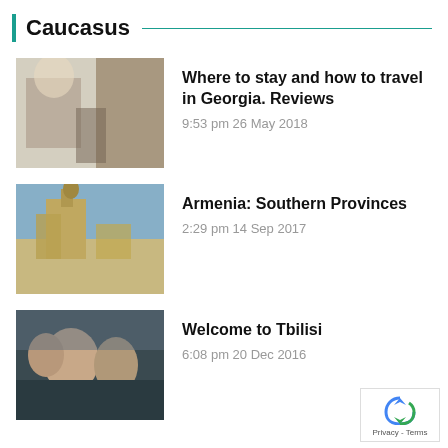Caucasus
Where to stay and how to travel in Georgia. Reviews
9:53 pm 26 May 2018
Armenia: Southern Provinces
2:29 pm 14 Sep 2017
Welcome to Tbilisi
6:08 pm 20 Dec 2016
Germany
Christmas markets in Germany: Weihnachtsmarkt
5:31 pm 04 Dec 2017